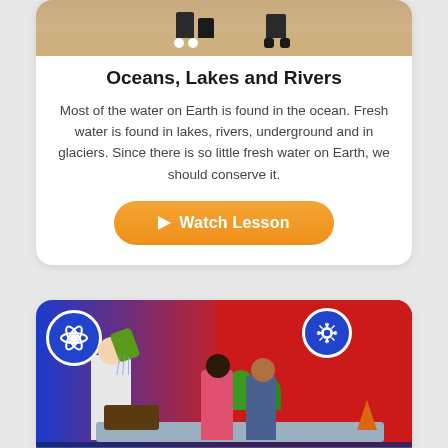[Figure (photo): Top portion of a photo showing children and a teacher on a light wooden floor background, partially cropped at the top of the card]
Oceans, Lakes and Rivers
Most of the water on Earth is found in the ocean. Fresh water is found in lakes, rivers, underground and in glaciers. Since there is so little fresh water on Earth, we should conserve it.
[Figure (other): Orange rounded button with play icon reading 'Watch Lesson']
[Figure (photo): Science educator in white lab coat pouring something with green watering can over a tray of soil, two children watching in a colorful classroom with science icons on blue and red background]